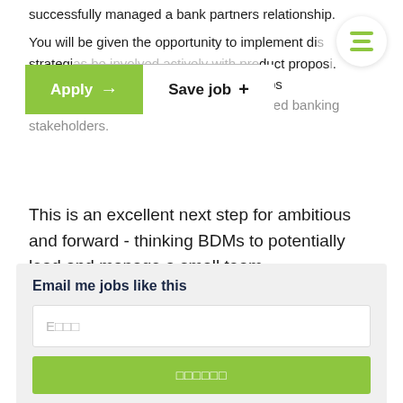successfully managed a bank partners relationship. You will be given the opportunity to implement distribution strategies, be involved actively with product propositions and work … ting relationships with assigned banking stakeholders.
This is an excellent next step for ambitious and forward - thinking BDMs to potentially lead and manage a small team
Email me jobs like this